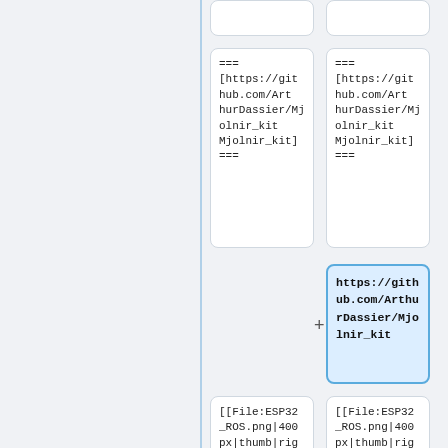=== [https://github.com/ArthurDassier/Mjolnir_kit Mjolnir_kit] ===
=== [https://github.com/ArthurDassier/Mjolnir_kit Mjolnir_kit] ===
https://github.com/ArthurDassier/Mjolnir_kit
[[File:ESP32_ROS.png|400px|thumb|right|ESP32 implementation architecture]]
[[File:ESP32_ROS.png|400px|thumb|right|ESP32 implementation architecture]]